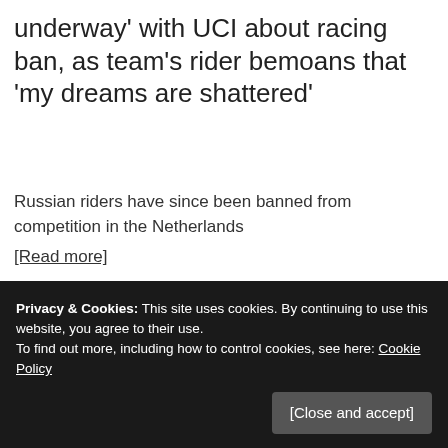underway' with UCI about racing ban, as team's rider bemoans that 'my dreams are shattered'
Russian riders have since been banned from competition in the Netherlands
[Read more]
Share this:
Twitter  Pinterest  WhatsApp  Facebook  Reddit
Privacy & Cookies: This site uses cookies. By continuing to use this website, you agree to their use.
To find out more, including how to control cookies, see here: Cookie Policy
[Close and accept]